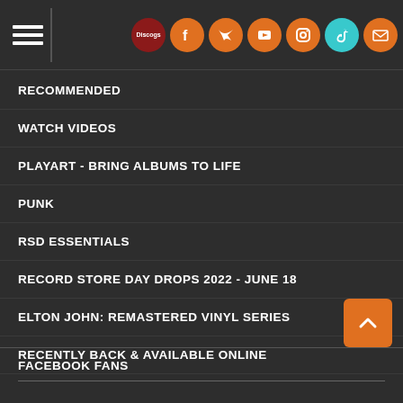Navigation header with hamburger menu and social icons: Discogs, Facebook, Twitter, YouTube, Instagram, TikTok, Email
RECOMMENDED
WATCH VIDEOS
PLAYART - BRING ALBUMS TO LIFE
PUNK
RSD ESSENTIALS
RECORD STORE DAY DROPS 2022 - JUNE 18
ELTON JOHN: REMASTERED VINYL SERIES
RECENTLY BACK & AVAILABLE ONLINE
FACEBOOK FANS